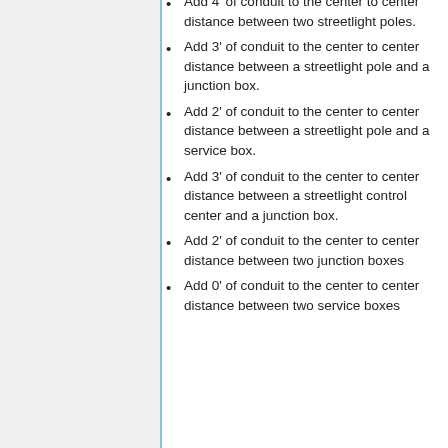Add 4' of conduit to the center to center distance between two streetlight poles.
Add 3' of conduit to the center to center distance between a streetlight pole and a junction box.
Add 2' of conduit to the center to center distance between a streetlight pole and a service box.
Add 3' of conduit to the center to center distance between a streetlight control center and a junction box.
Add 2' of conduit to the center to center distance between two junction boxes
Add 0' of conduit to the center to center distance between two service boxes